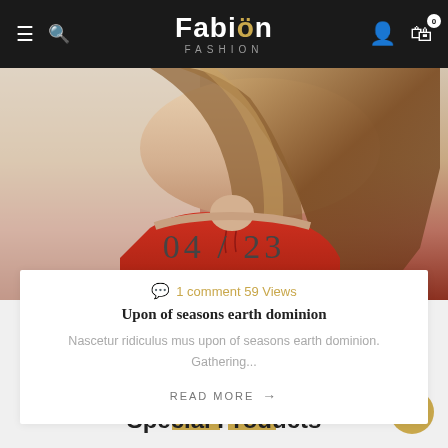Fabion Fashion
[Figure (photo): Woman wearing a red strapless top with long brown hair, product fashion photo]
04 / 23
1 comment 59 Views
Upon of seasons earth dominion
Nascetur ridiculus mus upon of seasons earth dominion. Gathering...
READ MORE →
Special Products